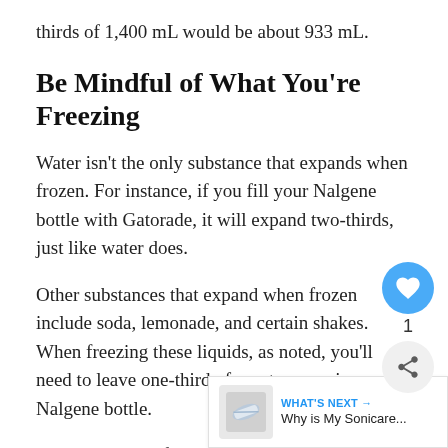thirds of 1,400 mL would be about 933 mL.
Be Mindful of What You're Freezing
Water isn't the only substance that expands when frozen. For instance, if you fill your Nalgene bottle with Gatorade, it will expand two-thirds, just like water does.
Other substances that expand when frozen include soda, lemonade, and certain shakes. When freezing these liquids, as noted, you'll need to leave one-third of empty space in your Nalgene bottle.
Matters change if you're bringing alcohol. Alcohol